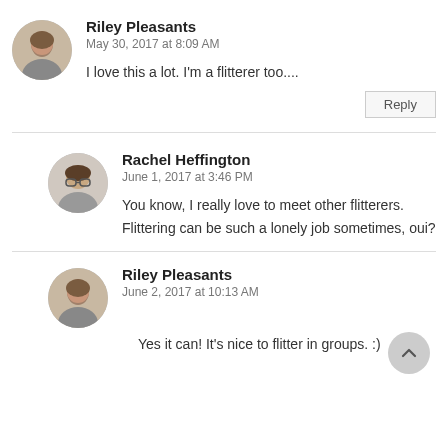Riley Pleasants
May 30, 2017 at 8:09 AM
I love this a lot. I'm a flitterer too....
Reply
Rachel Heffington
June 1, 2017 at 3:46 PM
You know, I really love to meet other flitterers. Flittering can be such a lonely job sometimes, oui?
Riley Pleasants
June 2, 2017 at 10:13 AM
Yes it can! It's nice to flitter in groups. :)